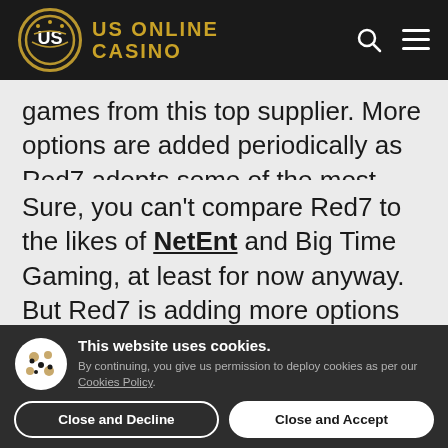US ONLINE CASINO
games from this top supplier. More options are added periodically as Red7 adopts some of the most iconic land-based slots to mobile.
Sure, you can't compare Red7 to the likes of NetEnt and Big Time Gaming, at least for now anyway. But Red7 is adding more options continuously. You can find the
This website uses cookies. By continuing, you give us permission to deploy cookies as per our Cookies Policy.